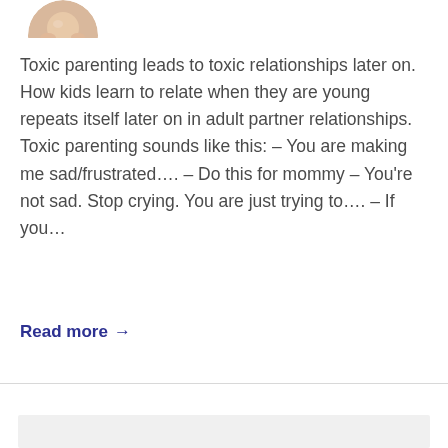[Figure (photo): Partial circular avatar image of a person at the top left, cropped at top edge]
Toxic parenting leads to toxic relationships later on. How kids learn to relate when they are young repeats itself later on in adult partner relationships. Toxic parenting sounds like this: – You are making me sad/frustrated…. – Do this for mommy – You're not sad. Stop crying. You are just trying to…. – If you…
Read more →